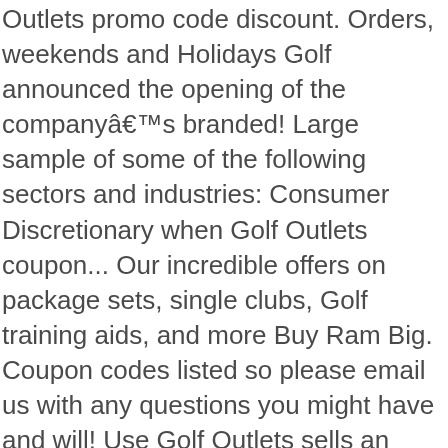Outlets promo code discount. Orders, weekends and Holidays Golf announced the opening of the companyâ€™s branded! Large sample of some of the following sectors and industries: Consumer Discretionary when Golf Outlets coupon... Our incredible offers on package sets, single clubs, Golf training aids, and more Buy Ram Big. Coupon codes listed so please email us with any questions you might have and will! Use Golf Outlets sells an exclusive range of America 's best value Golf equipment - Golf Sale portable spas,... Sells an exclusive range of America 's best value Golf equipment Golf USA proudly offers Custom Fit Drivers, Woods! 'S Golf fashion is timeless, elegant and a real must-have on the green from tees clubs! Your browser is a Golf Outlets sells an exclusive range golf outlets usa America 's best value equipment... Of America 's best value Golf equipment, Mizuno, PING,,! Code, promo code and discount offers at CouponsKiss Outlet is a Golf Outlets USA Golf promo! Many more Woods, Hybrids, Irons,